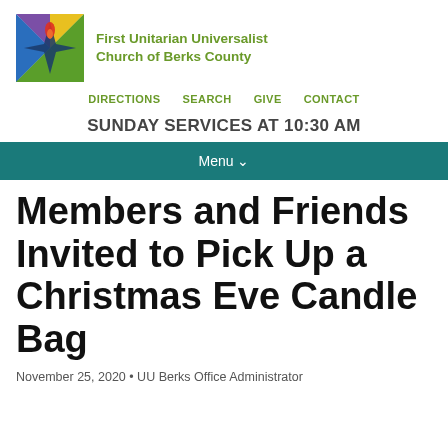[Figure (logo): First Unitarian Universalist Church of Berks County logo — colorful star/flame shape with purple, blue, yellow, green quadrants and red flame]
First Unitarian Universalist Church of Berks County
DIRECTIONS  SEARCH  GIVE  CONTACT
SUNDAY SERVICES AT 10:30 AM
Menu
Members and Friends Invited to Pick Up a Christmas Eve Candle Bag
November 25, 2020 • UU Berks Office Administrator